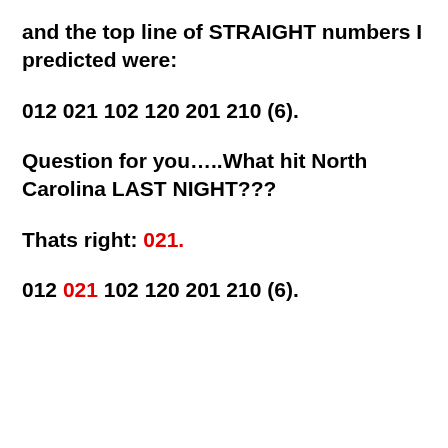and the top line of STRAIGHT numbers I predicted were:
012 021 102 120 201 210 (6).
Question for you…..What hit North Carolina LAST NIGHT???
Thats right: 021.
012 021 102 120 201 210 (6).